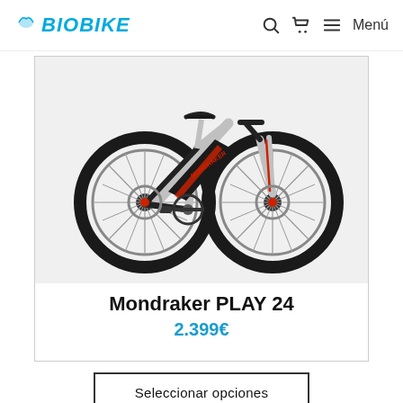BIOBIKE — Menú
[Figure (photo): Mondraker PLAY 24 electric mountain bike for children, silver/black/red frame, large knobby tires, front suspension fork, disc brakes, on white background]
Mondraker PLAY 24
2.399€
Seleccionar opciones